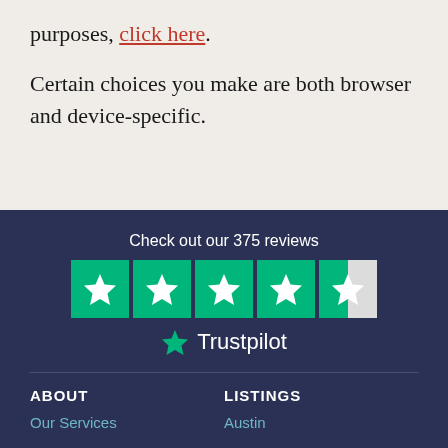purposes, click here. Certain choices you make are both browser and device-specific.
[Figure (other): Trustpilot widget showing 'Check out our 375 reviews' with 5 green star boxes (last star half-filled) and Trustpilot logo]
ABOUT | LISTINGS | Our Services | Austin